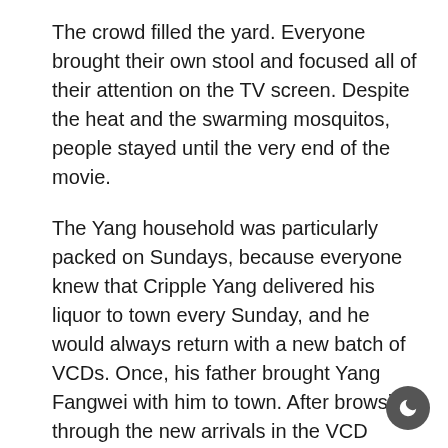The crowd filled the yard. Everyone brought their own stool and focused all of their attention on the TV screen. Despite the heat and the swarming mosquitos, people stayed until the very end of the movie.
The Yang household was particularly packed on Sundays, because everyone knew that Cripple Yang delivered his liquor to town every Sunday, and he would always return with a new batch of VCDs. Once, his father brought Yang Fangwei with him to town. After browsing through the new arrivals in the VCD store, he chose ten VCDs with a round-shaped robot cat printed on the cover.
That Sunday, instead of the familiar